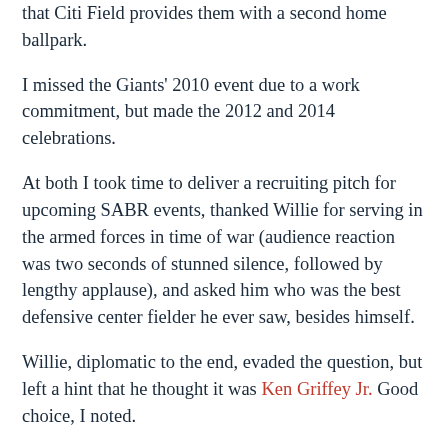that Citi Field provides them with a second home ballpark.
I missed the Giants' 2010 event due to a work commitment, but made the 2012 and 2014 celebrations.
At both I took time to deliver a recruiting pitch for upcoming SABR events, thanked Willie for serving in the armed forces in time of war (audience reaction was two seconds of stunned silence, followed by lengthy applause), and asked him who was the best defensive center fielder he ever saw, besides himself.
Willie, diplomatic to the end, evaded the question, but left a hint that he thought it was Ken Griffey Jr. Good choice, I noted.
Someone else asked Willie how he would have fared if Bobby Thomson had been walked — intentionally or otherwise — in the critical game in 1951. Willie expressed relief at not having to come to bat in that situation. He'd not been hitting well down the stretch, and was grateful that a veteran like Thomson was batting in that situation. I was struck by this dose of